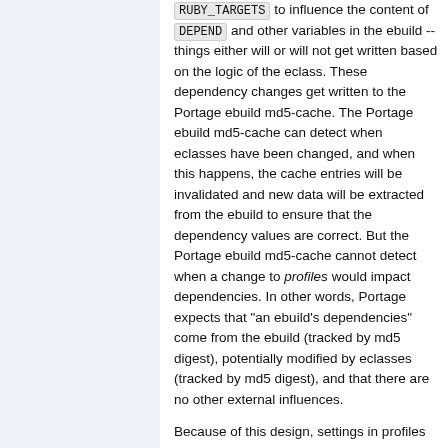RUBY_TARGETS to influence the content of DEPEND and other variables in the ebuild -- things either will or will not get written based on the logic of the eclass. These dependency changes get written to the Portage ebuild md5-cache. The Portage ebuild md5-cache can detect when eclasses have been changed, and when this happens, the cache entries will be invalidated and new data will be extracted from the ebuild to ensure that the dependency values are correct. But the Portage ebuild md5-cache cannot detect when a change to profiles would impact dependencies. In other words, Portage expects that "an ebuild's dependencies" come from the ebuild (tracked by md5 digest), potentially modified by eclasses (tracked by md5 digest), and that there are no other external influences.
Because of this design, settings in profiles that have the potential of